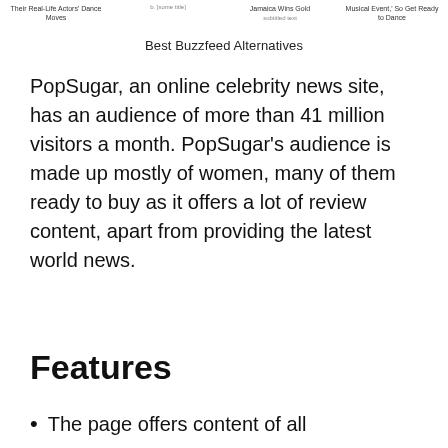Their Real-Life Actors' Dance Moves | [caption text] | Jamaica Wins Gold [subtitle] | Musical Event,' So Get Ready to Dance
Best Buzzfeed Alternatives
PopSugar, an online celebrity news site, has an audience of more than 41 million visitors a month. PopSugar’s audience is made up mostly of women, many of them ready to buy as it offers a lot of review content, apart from providing the latest world news.
Features
The page offers content of all